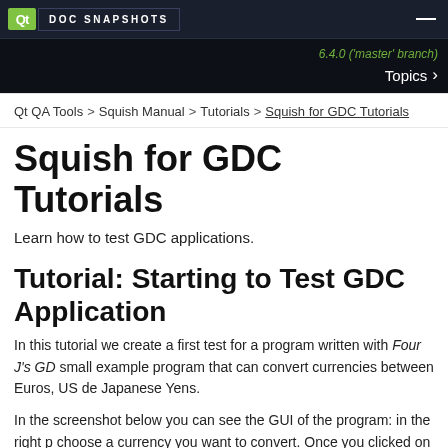Qt Doc Snapshots
6.4.0 ('master' branch) Topics
Qt QA Tools > Squish Manual > Tutorials > Squish for GDC Tutorials
Squish for GDC Tutorials
Learn how to test GDC applications.
Tutorial: Starting to Test GDC Application
In this tutorial we create a first test for a program written with Four J's GD small example program that can convert currencies between Euros, US de Japanese Yens.
In the screenshot below you can see the GUI of the program: in the right p choose a currency you want to convert. Once you clicked on one of the bu edit for that currency becomes editable. After you entered a value, the oth updated to show the converted values.